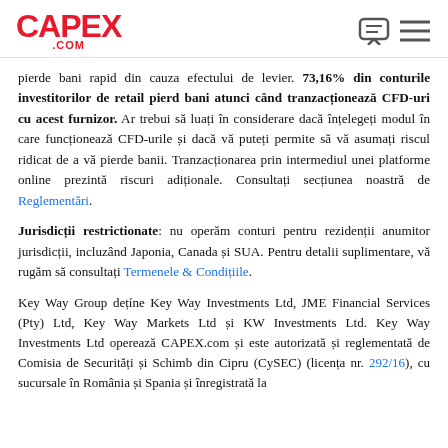CAPEX.COM
pierde bani rapid din cauza efectului de levier. 73,16% din conturile investitorilor de retail pierd bani atunci când tranzacționează CFD-uri cu acest furnizor. Ar trebui să luați în considerare dacă înțelegeți modul în care funcționează CFD-urile și dacă vă puteți permite să vă asumați riscul ridicat de a vă pierde banii. Tranzacționarea prin intermediul unei platforme online prezintă riscuri adiționale. Consultați secțiunea noastră de Reglementări.
Jurisdicții restrictionate: nu operăm conturi pentru rezidenții anumitor jurisdicții, incluzând Japonia, Canada și SUA. Pentru detalii suplimentare, vă rugăm să consultați Termenele & Condițiile.
Key Way Group dețíne Key Way Investments Ltd, JME Financial Services (Pty) Ltd, Key Way Markets Ltd și KW Investments Ltd. Key Way Investments Ltd operează CAPEX.com și este autorizată și reglementată de Comisia de Securități și Schimb din Cipru (CySEC) (licența nr. 292/16), cu sucursale în România și Spania și înregistrată la